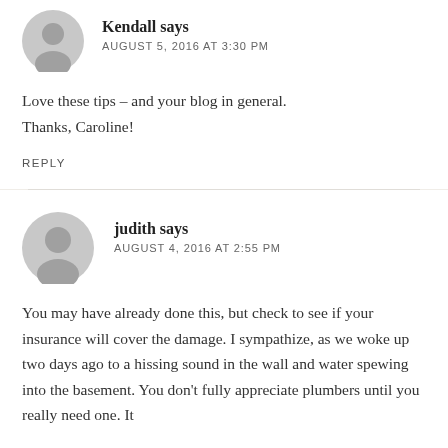Kendall says AUGUST 5, 2016 AT 3:30 PM
Love these tips – and your blog in general. Thanks, Caroline!
REPLY
judith says AUGUST 4, 2016 AT 2:55 PM
You may have already done this, but check to see if your insurance will cover the damage. I sympathize, as we woke up two days ago to a hissing sound in the wall and water spewing into the basement. You don't fully appreciate plumbers until you really need one. It